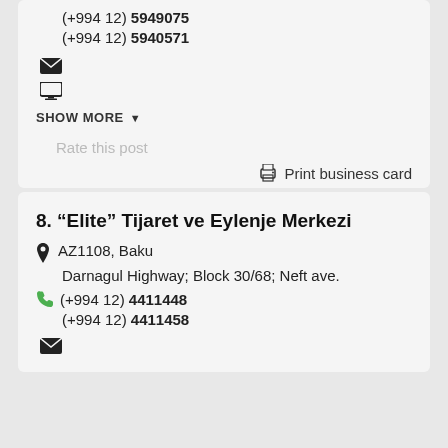(+994 12) 5949075
(+994 12) 5940571
[Figure (other): Email (envelope) icon]
[Figure (other): Monitor/desktop icon]
SHOW MORE
Rate this post
Print business card
8. “Elite” Tijaret ve Eylenje Merkezi
AZ1108, Baku
Darnagul Highway; Block 30/68; Neft ave.
(+994 12) 4411448
(+994 12) 4411458
[Figure (other): Email (envelope) icon]